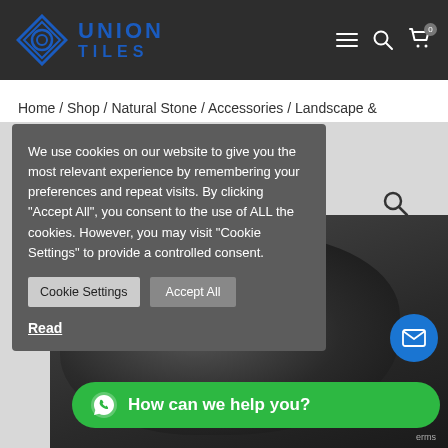[Figure (logo): Union Tiles logo with diamond shape and blue text on dark header]
Union Tiles website header with navigation icons
Home / Shop / Natural Stone / Accessories / Landscape &
We use cookies on our website to give you the most relevant experience by remembering your preferences and repeat visits. By clicking “Accept All”, you consent to the use of ALL the cookies. However, you may visit "Cookie Settings" to provide a controlled consent.
Cookie Settings   Accept All
Read
How can we help you?